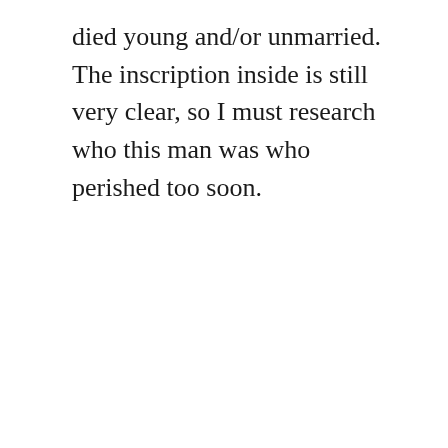died young and/or unmarried. The inscription inside is still very clear, so I must research who this man was who perished too soon.